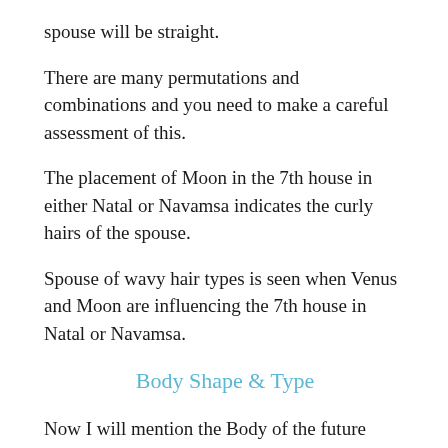spouse will be straight.
There are many permutations and combinations and you need to make a careful assessment of this.
The placement of Moon in the 7th house in either Natal or Navamsa indicates the curly hairs of the spouse.
Spouse of wavy hair types is seen when Venus and Moon are influencing the 7th house in Natal or Navamsa.
Body Shape & Type
Now I will mention the Body of the future spouse as per the placement of planets in the Horoscope.
The first step here is to judge the shape and type of